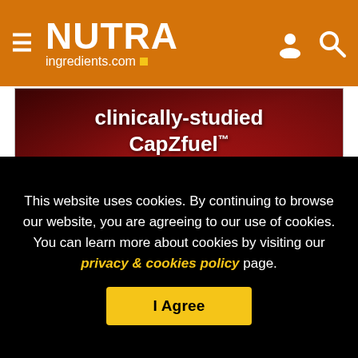NUTRAingredients.com
[Figure (photo): CapZfuel advertisement banner: 'clinically-studied CapZfuel™' with LEARN MORE button and CapZfuel Endurance Redefined logo on dark red background]
The data on the women came from a larger cohort study done previously.  That study, called the Women's Health Initiative Clinical Trials (WHI-CT) was a clinical trial of a
This website uses cookies. By continuing to browse our website, you are agreeing to our use of cookies. You can learn more about cookies by visiting our privacy & cookies policy page.
I Agree